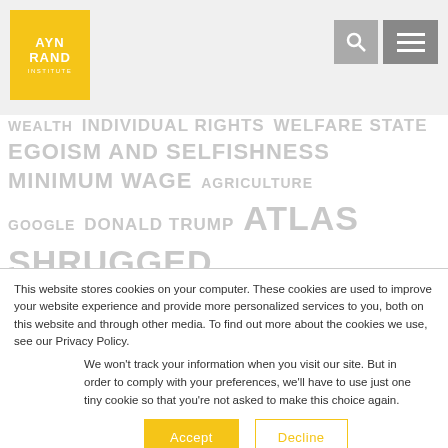Ayn Rand Institute — website header with logo, search, and menu
[Figure (screenshot): Ayn Rand Institute tag cloud showing topics: WEALTH, INDIVIDUAL RIGHTS, WELFARE STATE, EGOISM AND SELFISHNESS, MINIMUM WAGE, AGRICULTURE, GOOGLE, DONALD TRUMP, ATLAS SHRUGGED, PALESTINIANS, FDA, REASON VS FAITH, CAPITALISM, MEDICARE, PSYCHOLOGY, SCIENCE, SENSE OF LIFE, AYN RAND NOVELS AND IDEAS, AMAZON]
This website stores cookies on your computer. These cookies are used to improve your website experience and provide more personalized services to you, both on this website and through other media. To find out more about the cookies we use, see our Privacy Policy.
We won't track your information when you visit our site. But in order to comply with your preferences, we'll have to use just one tiny cookie so that you're not asked to make this choice again.